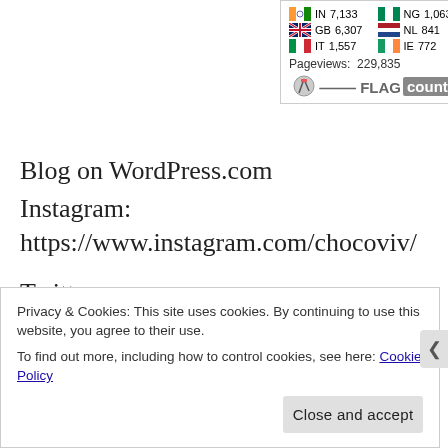[Figure (infographic): Flag Counter popup showing country visitor counts: IN 7,133 | NG 1,063 | GB 6,307 | NL 841 | IT 1,557 | IE 772 | Pageviews: 229,835 | FLAG counter branding]
Blog on WordPress.com
Instagram: https://www.instagram.com/chocoviv/
Twitter: https://mobile.twitter.com/Chocoviv1
Pinterest: https://www.pinterest.ca/chocoviv1/
Privacy & Cookies: This site uses cookies. By continuing to use this website, you agree to their use. To find out more, including how to control cookies, see here: Cookie Policy